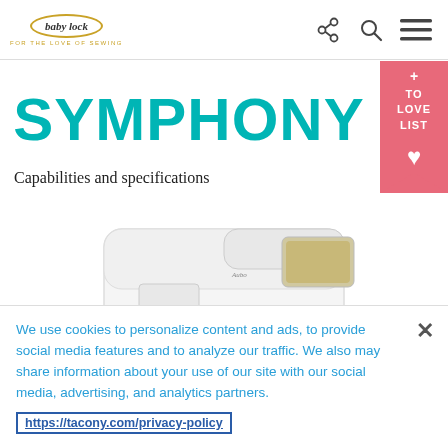baby lock | FOR THE LOVE OF SEWING
SYMPHONY
Capabilities and specifications
[Figure (photo): White Baby Lock Symphony sewing and embroidery machine]
We use cookies to personalize content and ads, to provide social media features and to analyze our traffic. We also may share information about your use of our site with our social media, advertising, and analytics partners.
https://tacony.com/privacy-policy